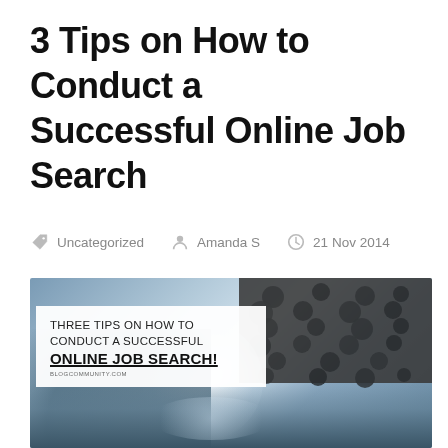3 Tips on How to Conduct a Successful Online Job Search
Uncategorized  Amanda S  21 Nov 2014
[Figure (photo): Blurred photo of a person at a laptop with bokeh background and spotted dark pattern on the right. An overlay text box in the upper-left reads: THREE TIPS ON HOW TO CONDUCT A SUCCESSFUL ONLINE JOB SEARCH! BLOGCOMMUNITY.COM]